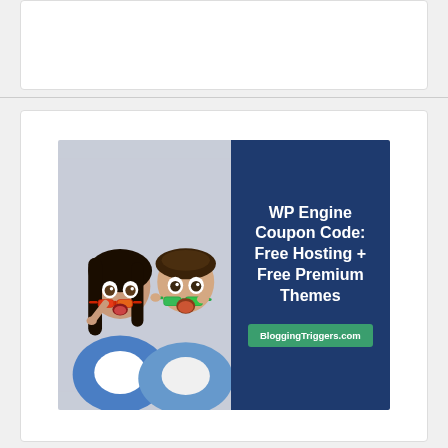[Figure (other): Top white card area, partially visible, with a small icon at top center]
[Figure (infographic): Banner image showing two surprised people (woman with red sunglasses, man with green sunglasses) on the left half with light blue-gray background, and dark blue right half with text: 'WP Engine Coupon Code: Free Hosting + Free Premium Themes' and a green button reading 'BloggingTriggers.com']